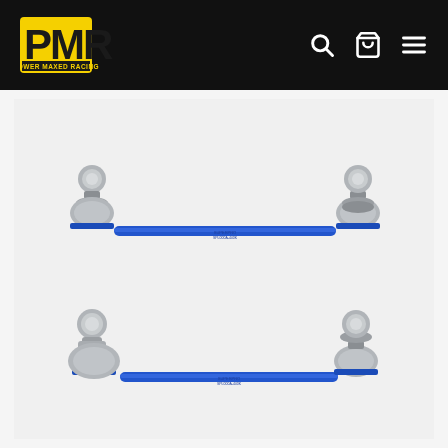PMR Power Maxed Racing — navigation header with search, cart, and menu icons
[Figure (photo): Two blue anodised aluminium adjustable sway bar end links with silver ball joints and collars at each end, shown as a pair stacked vertically against a light grey background. The rods are bright blue with small text markings; the ball joint ends are polished silver metal.]